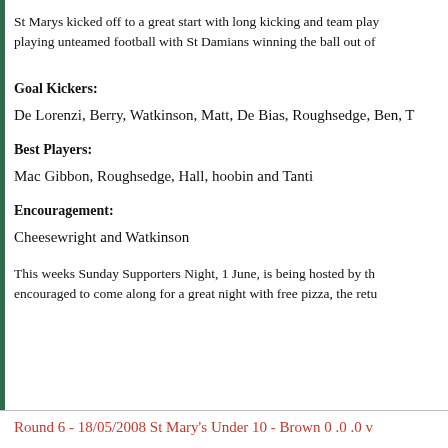St Marys kicked off to a great start with long kicking and team play playing unteamed football with St Damians winning the ball out of
Goal Kickers:
De Lorenzi, Berry, Watkinson, Matt, De Bias, Roughsedge, Ben, T
Best Players:
Mac Gibbon, Roughsedge, Hall, hoobin and Tanti
Encouragement:
Cheesewright and Watkinson
This weeks Sunday Supporters Night, 1 June, is being hosted by th encouraged to come along for a great night with free pizza, the retu
Round 6 - 18/05/2008 St Mary's Under 10 - Brown 0 .0 .0 v